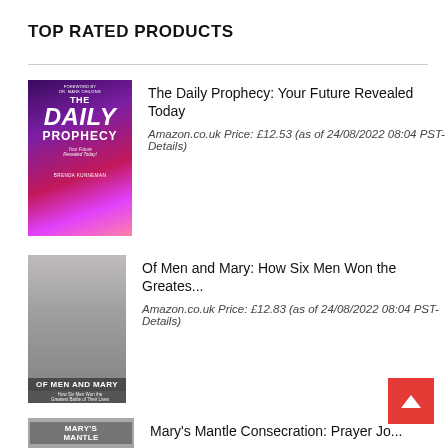TOP RATED PRODUCTS
[Figure (photo): Book cover: The Daily Prophecy: Your Future Revealed Today by Brenda Kunneman, purple/pink gradient]
The Daily Prophecy: Your Future Revealed Today
Amazon.co.uk Price: £12.53 (as of 24/08/2022 08:04 PST- Details)
[Figure (photo): Book cover: Of Men and Mary: How Six Men Won the Greatest Battle of Their Lives, grey/dark tones]
Of Men and Mary: How Six Men Won the Greates...
Amazon.co.uk Price: £12.83 (as of 24/08/2022 08:04 PST- Details)
[Figure (photo): Book cover: Mary's Mantle Consecration: Prayer Jo..., grey tones]
Mary's Mantle Consecration: Prayer Jo...
Amazon.co.uk Price: £8.89 (as of 24/08/2022 08:04 PST- Details)